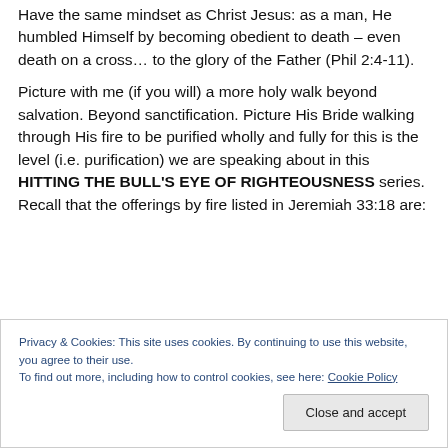Have the same mindset as Christ Jesus: as a man, He humbled Himself by becoming obedient to death – even death on a cross… to the glory of the Father (Phil 2:4-11).
Picture with me (if you will) a more holy walk beyond salvation. Beyond sanctification. Picture His Bride walking through His fire to be purified wholly and fully for this is the level (i.e. purification) we are speaking about in this HITTING THE BULL'S EYE OF RIGHTEOUSNESS series. Recall that the offerings by fire listed in Jeremiah 33:18 are:
Privacy & Cookies: This site uses cookies. By continuing to use this website, you agree to their use.
To find out more, including how to control cookies, see here: Cookie Policy